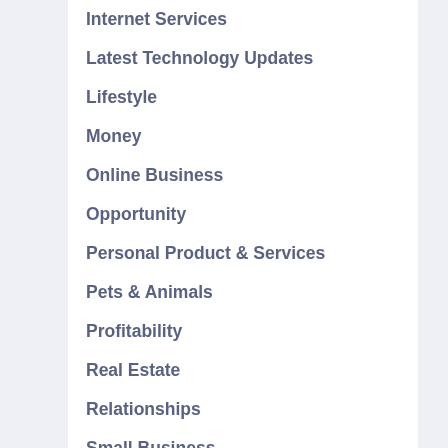Internet Services
Latest Technology Updates
Lifestyle
Money
Online Business
Opportunity
Personal Product & Services
Pets & Animals
Profitability
Real Estate
Relationships
Small Business
Small Business Ideas
Software
Sports & Athletics
Starting A Business
Technology
Technology News Articles
The Business
The Business